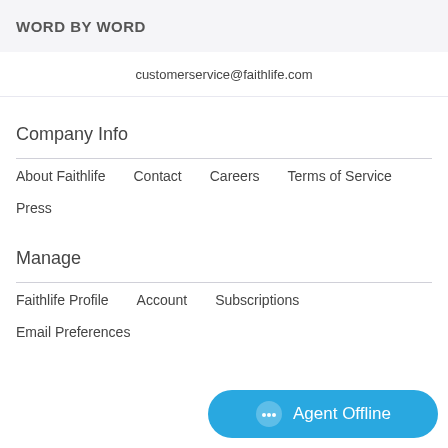WORD BY WORD
customerservice@faithlife.com
Company Info
About Faithlife
Contact
Careers
Terms of Service
Press
Manage
Faithlife Profile
Account
Subscriptions
Email Preferences
Agent Offline